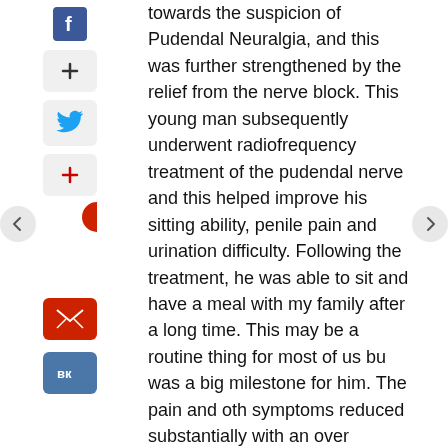towards the suspicion of Pudendal Neuralgia, and this was further strengthened by the relief from the nerve block. This young man subsequently underwent radiofrequency treatment of the pudendal nerve and this helped improve his sitting ability, penile pain and urination difficulty. Following the treatment, he was able to sit and have a meal with my family after a long time. This may be a routine thing for most of us but was a big milestone for him. The pain and other symptoms reduced substantially with an overall improvement of about 65% compared to the pre-treatment levels. He is a very motivated patient and easily adopted the lifestyle modifications such as using a coccyx cushion while sitting, avoiding constipation, tight clothes, and bike riding. His compliance with physiotherapy has been good and now that the symptoms are better